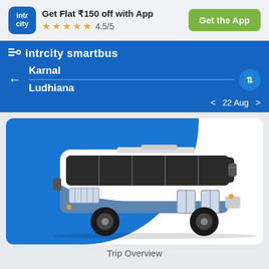[Figure (screenshot): IntrCity app promotional banner with logo, rating stars, and Get the App button]
Get Flat ₹150 off with App
★★★★½ 4.5/5
Get the App
intrcity smartbus
Karnal
Ludhiana
< 22 Aug >
[Figure (illustration): Bus illustration showing a blue and white coach bus with 'Karnal - Ludhiana' text on its side, on a blue background card]
Trip Overview